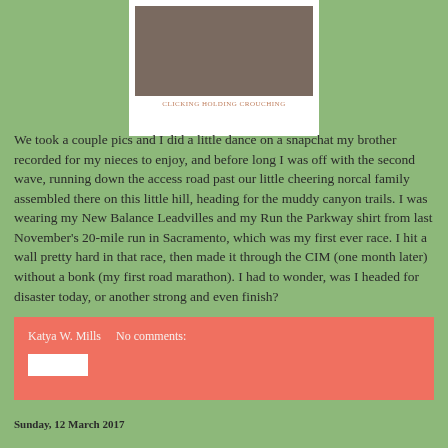[Figure (photo): Close-up photo of a hand, partially cropped, shown in a white polaroid-style frame with a faint caption below]
CLICKING HOLDING CROUCHING
We took a couple pics and I did a little dance on a snapchat my brother recorded for my nieces to enjoy, and before long I was off with the second wave, running down the access road past our little cheering norcal family assembled there on this little hill, heading for the muddy canyon trails. I was wearing my New Balance Leadvilles and my Run the Parkway shirt from last November's 20-mile run in Sacramento, which was my first ever race. I hit a wall pretty hard in that race, then made it through the CIM (one month later) without a bonk (my first road marathon). I had to wonder, was I headed for disaster today, or another strong and even finish?
Katya W. Mills    No comments:
Sunday, 12 March 2017